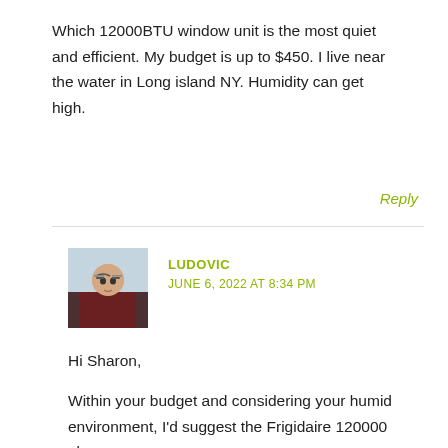Which 12000BTU window unit is the most quiet and efficient. My budget is up to $450. I live near the water in Long island NY. Humidity can get high.
Reply
LUDOVIC
JUNE 6, 2022 AT 8:34 PM
Hi Sharon,
Within your budget and considering your humid environment, I'd suggest the Frigidaire 120000 above.
Otherwise, most 12000 units will be above your